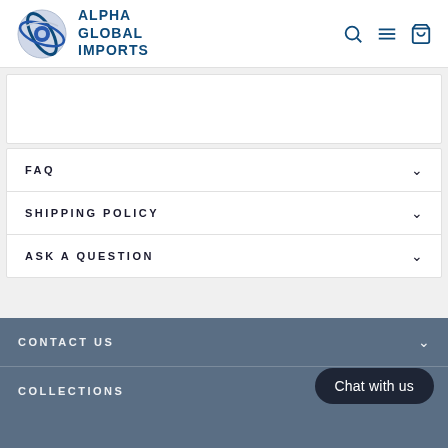Alpha Global Imports
FAQ
SHIPPING POLICY
ASK A QUESTION
CONTACT US
COLLECTIONS
Chat with us